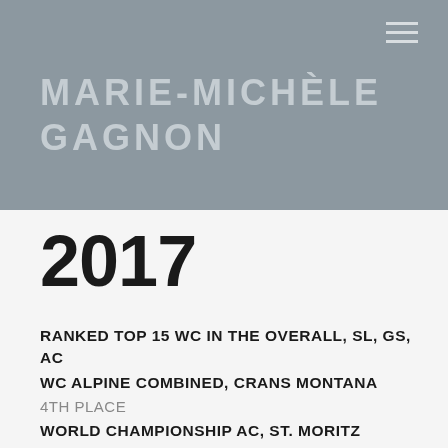MARIE-MICHÈLE GAGNON
2017
RANKED TOP 15 WC IN THE OVERALL, SL, GS, AC
WC ALPINE COMBINED, CRANS MONTANA
4TH PLACE
WORLD CHAMPIONSHIP AC, ST. MORITZ